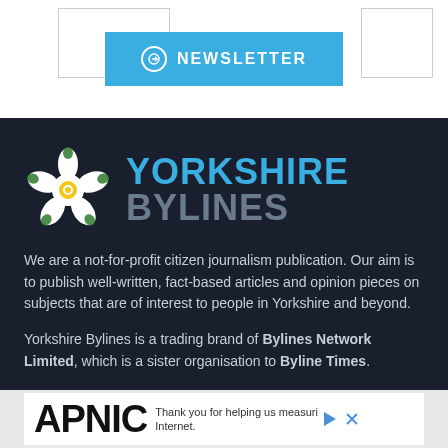[Figure (other): Newsletter subscription button with circle arrow icon on blue background, with white border boxes on left and right sides]
[Figure (logo): Yorkshire Bylines logo: Yorkshire white rose flower icon with green and yellow details on dark background, beside YORKSHIRE in blue bold text and BYLINES in gray bold text]
We are a not-for-profit citizen journalism publication. Our aim is to publish well-written, fact-based articles and opinion pieces on subjects that are of interest to people in Yorkshire and beyond.
Yorkshire Bylines is a trading brand of Bylines Network Limited, which is a sister organisation to Byline Times.
[Figure (other): APNIC advertisement banner with large APNIC logo text and 'Thank you for helping us measure the Internet.' text with ad icons]